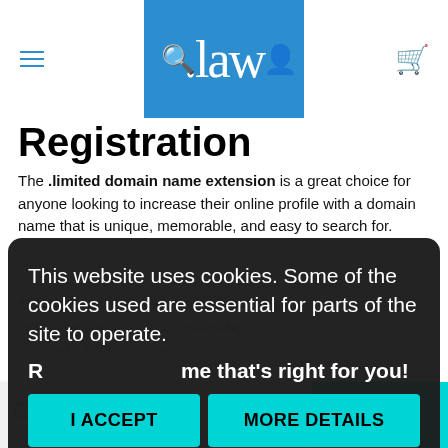[Figure (logo): .law logo — white text on blue background, with hamburger menu, search, user, and cart icons]
Registration
The .limited domain name extension is a great choice for anyone looking to increase their online profile with a domain name that is unique, memorable, and easy to search for.
REGISTER FOR 35.19 USD  10.99 USD/YEAR
TRANSFER FOR 33.99 USD/YEAR
PRIVATE REGISTRATION
This website uses cookies. Some of the cookies used are essential for parts of the site to operate.
Register... me that's right for you!
I ACCEPT   MORE DETAILS
www.example   .LIMITED